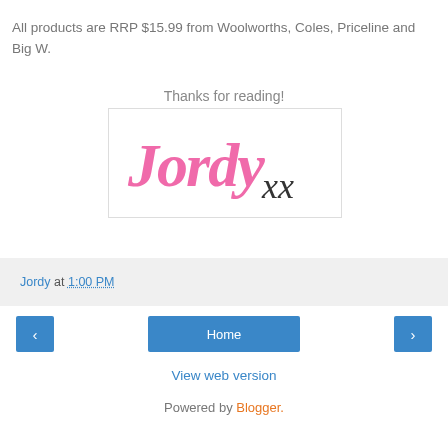All products are RRP $15.99 from Woolworths, Coles, Priceline and Big W.
Thanks for reading!
[Figure (illustration): Handwritten-style signature reading 'Jordy xx' — 'Jordy' in pink cursive, 'xx' in dark/black cursive — inside a white box with light gray border.]
Jordy at 1:00 PM
Home
View web version
Powered by Blogger.